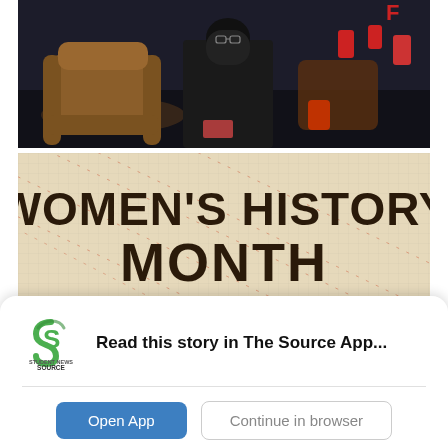[Figure (photo): People sitting in recliner seats in a dark cinema, one person wearing a hijab and dark clothing, with red cup holders visible in background.]
[Figure (photo): Sign or banner on a textured light-colored background with diagonal dotted pattern reading WOMEN'S HISTORY MONTH in large bold dark letters.]
[Figure (logo): Student News Source logo - green S-shaped icon with text Student News SOURCE below it.]
Read this story in The Source App...
Open App
Continue in browser